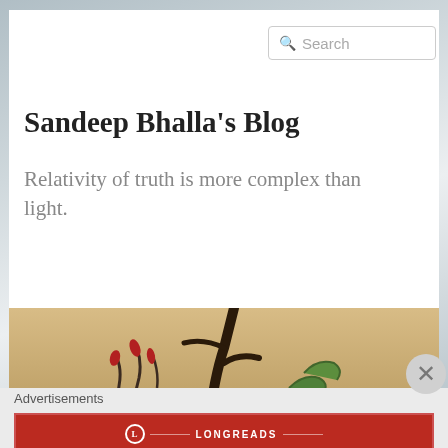[Figure (screenshot): Background sky photo with clouds and blue-grey tones]
[Figure (other): Search box with magnifying glass icon and placeholder text 'Search']
Sandeep Bhalla's Blog
Relativity of truth is more complex than light.
[Figure (photo): Photo strip showing plant branches with red and green leaves against a beige/golden background]
Advertisements
[Figure (other): Longreads advertisement banner: red background with Longreads logo and text 'The best stories on the web — ours, and everyone else's.']